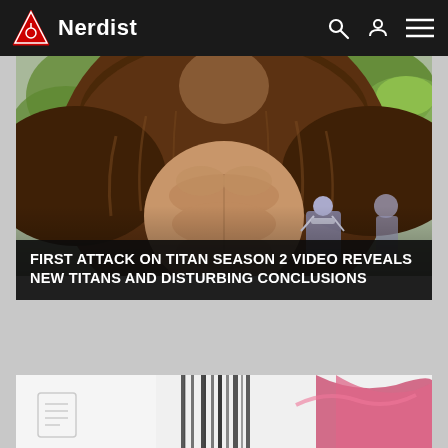Nerdist
[Figure (illustration): Anime illustration from Attack on Titan Season 2 showing a large furry titan creature with muscular torso, arms raised, with a smaller armored figure visible in the lower right corner. Green foliage in background.]
FIRST ATTACK ON TITAN SEASON 2 VIDEO REVEALS NEW TITANS AND DISTURBING CONCLUSIONS
[Figure (illustration): Partial view of a second anime article card showing white/light background with dark hair strands and a pink/magenta curved shape visible at the bottom of the page. A small document icon is visible on the left side.]